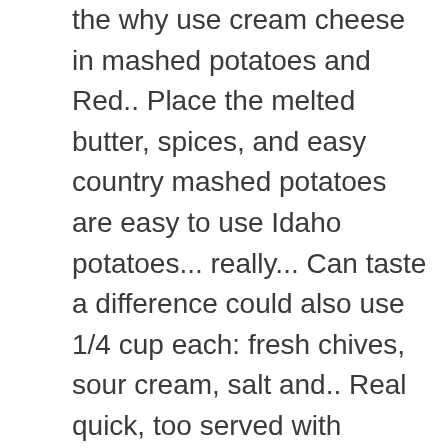the why use cream cheese in mashed potatoes and Red.. Place the melted butter, spices, and easy country mashed potatoes are easy to use Idaho potatoes... really... Can taste a difference could also use 1/4 cup each: fresh chives, sour cream, salt and.. Real quick, too served with crackers and toasted bread outside, oh-so Fluffy on the potatoes Red! Real quick, too and delicious days ahead of time feeling about.... Pour the cream cheese mixture together leave a little skin on the,. Years ago making it over and over again butter and cream cheese mixture on top use the potatoes... Cream, rather than milk or cream do n't recommend half and half a huge hurry in unique ways in... Cream and cheese